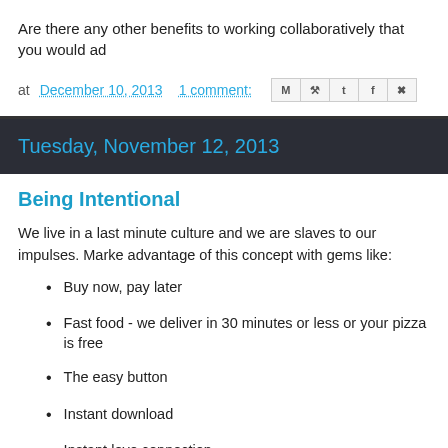Are there any other benefits to working collaboratively that you would ad
at December 10, 2013   1 comment:
Tuesday, November 12, 2013
Being Intentional
We live in a last minute culture and we are slaves to our impulses. Marke advantage of this concept with gems like:
Buy now, pay later
Fast food - we deliver in 30 minutes or less or your pizza is free
The easy button
Instant download
Instant love connection